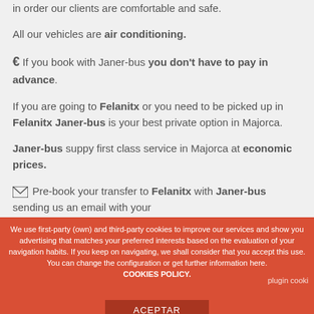in order our clients are comfortable and safe.
All our vehicles are air conditioning.
€ If you book with Janer-bus you don't have to pay in advance.
If you are going to Felanitx or you need to be picked up in Felanitx Janer-bus is your best private option in Majorca.
Janer-bus suppy first class service in Majorca at economic prices.
✉ Pre-book your transfer to Felanitx with Janer-bus sending us an email with your
We use first-party (own) and third-party cookies to improve our services and show you advertising that matches your preferred interests based on the evaluation of your navigation habits. If you keep on navigating, we shall consider that you accept this use. You can change the configuration or get further information here. COOKIES POLICY. plugin cooki ACEPTAR